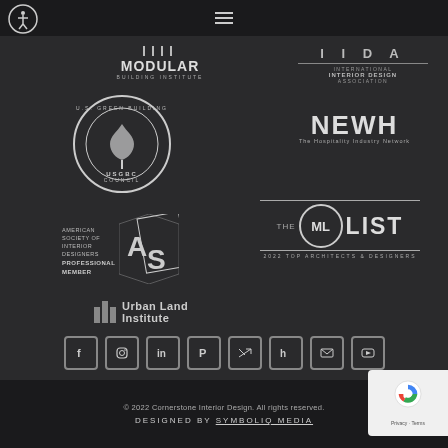[Figure (logo): Navigation bar with hamburger menu icon]
[Figure (logo): Accessibility icon circle top left]
[Figure (logo): Modular Building Institute logo]
[Figure (logo): IIDA International Interior Design Association logo]
[Figure (logo): U.S. Green Building Council USGBC circular logo]
[Figure (logo): NEWH The Hospitality Industry Network logo]
[Figure (logo): ASID American Society of Interior Designers Professional Member logo]
[Figure (logo): The ML List 2022 Top Architects and Designers logo]
[Figure (logo): Urban Land Institute logo]
[Figure (logo): Social media icons row: Facebook, Instagram, LinkedIn, Pinterest, Twitter, Houzz, Email, YouTube]
© 2022 Cornerstone Interior Design. All rights reserved. DESIGNED BY SYMBOLIQ MEDIA